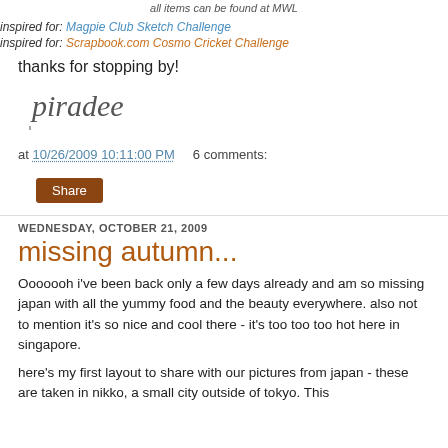all items can be found at MWL
inspired for: Magpie Club Sketch Challenge
inspired for: Scrapbook.com Cosmo Cricket Challenge
thanks for stopping by!
[Figure (illustration): Handwritten cursive signature reading 'piradee']
at 10/26/2009 10:11:00 PM   6 comments:
Share
WEDNESDAY, OCTOBER 21, 2009
missing autumn...
Ooooooh i've been back only a few days already and am so missing japan with all the yummy food and the beauty everywhere. also not to mention it's so nice and cool there - it's too too too hot here in singapore.
here's my first layout to share with our pictures from japan - these are taken in nikko, a small city outside of tokyo. This